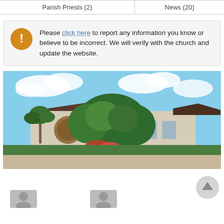| Parish Priests (2) | News (20) |
Please click here to report any information you know or believe to be incorrect. We will verify with the church and update the website.
[Figure (photo): Exterior photo of a church building with a cross, tropical landscaping including palm trees and colorful flowers, under a partly cloudy sky.]
[Figure (other): Scroll-to-top circular button icon and partially visible avatar/profile thumbnails at bottom of page.]